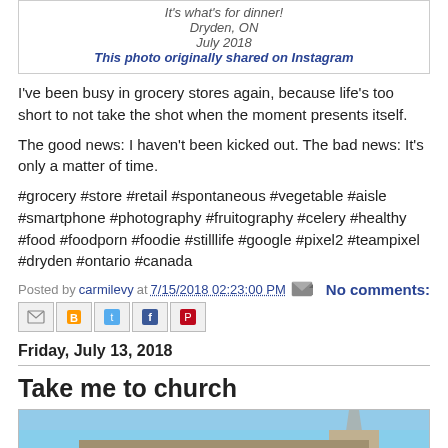[Figure (other): Instagram post box showing 'It's what's for dinner!', Dryden, ON, July 2018, with a blue link 'This photo originally shared on Instagram']
I've been busy in grocery stores again, because life's too short to not take the shot when the moment presents itself.
The good news: I haven't been kicked out. The bad news: It's only a matter of time.
#grocery #store #retail #spontaneous #vegetable #aisle #smartphone #photography #fruitography #celery #healthy #food #foodporn #foodie #stilllife #google #pixel2 #teampixel #dryden #ontario #canada
Posted by carmilevy at 7/15/2018 02:23:00 PM  No comments:
[Figure (other): Row of share icons: Email, Blogger, Twitter, Facebook, Pinterest]
Friday, July 13, 2018
Take me to church
[Figure (photo): Partial photo of a stone church building with a spire against a blue sky]